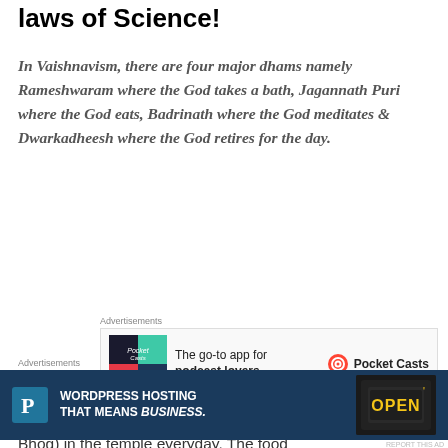laws of Science!
In Vaishnavism, there are four major dhams namely Rameshwaram where the God takes a bath, Jagannath Puri where the God eats, Badrinath where the God meditates & Dwarkadheesh where the God retires for the day.
[Figure (other): Advertisement: Pocket Casts - The go-to app for podcast lovers. Colorful quadrant logo shown.]
This is why they prepare 56 delicacies (also called Chappan Bhog) in the temple everyday. The food
[Figure (other): Advertisement: WordPress Hosting That Means Business. Dark banner with OPEN sign photo.]